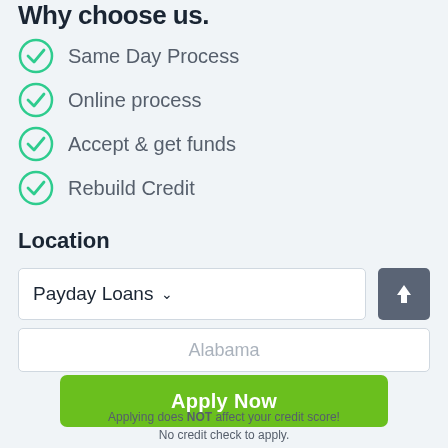Why choose us?
Same Day Process
Online process
Accept & get funds
Rebuild Credit
Location
Payday Loans
Alabama
Apply Now
Applying does NOT affect your credit score! No credit check to apply.